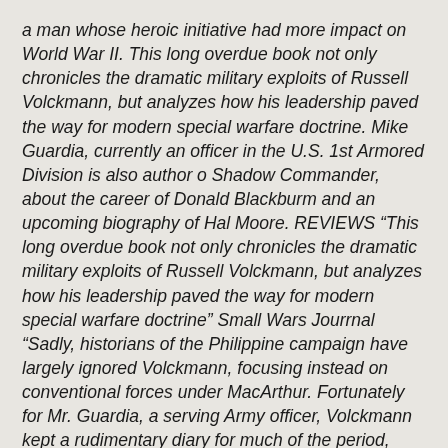a man whose heroic initiative had more impact on World War II. This long overdue book not only chronicles the dramatic military exploits of Russell Volckmann, but analyzes how his leadership paved the way for modern special warfare doctrine. Mike Guardia, currently an officer in the U.S. 1st Armored Division is also author o Shadow Commander, about the career of Donald Blackburm and an upcoming biography of Hal Moore. REVIEWS “This long overdue book not only chronicles the dramatic military exploits of Russell Volckmann, but analyzes how his leadership paved the way for modern special warfare doctrine” Small Wars Jourrnal “Sadly, historians of the Philippine campaign have largely ignored Volckmann, focusing instead on conventional forces under MacArthur. Fortunately for Mr. Guardia, a serving Army officer, Volckmann kept a rudimentary diary for much of the period, describing how he managed to